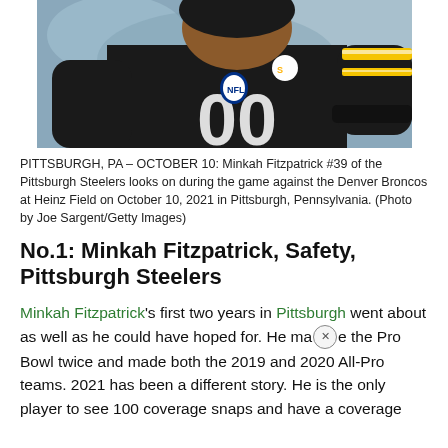[Figure (photo): Close-up photo of Minkah Fitzpatrick #39 wearing Pittsburgh Steelers black jersey with yellow and white striped sleeve, looking on during a game. Background is blurred stadium/field.]
PITTSBURGH, PA – OCTOBER 10: Minkah Fitzpatrick #39 of the Pittsburgh Steelers looks on during the game against the Denver Broncos at Heinz Field on October 10, 2021 in Pittsburgh, Pennsylvania. (Photo by Joe Sargent/Getty Images)
No.1: Minkah Fitzpatrick, Safety, Pittsburgh Steelers
Minkah Fitzpatrick's first two years in Pittsburgh went about as well as he could have hoped for. He made the Pro Bowl twice and made both the 2019 and 2020 All-Pro teams. 2021 has been a different story. He is the only player to see 100 coverage snaps and have a coverage